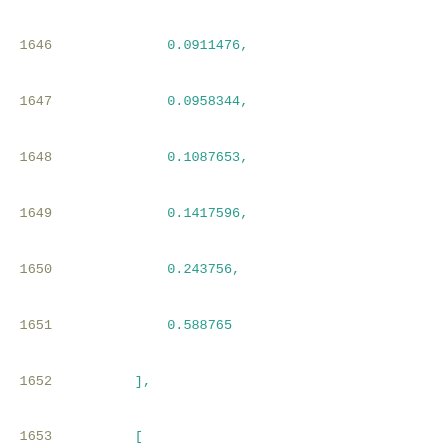Code listing lines 1646-1666 showing numerical array data
1646    0.0911476,
1647    0.0958344,
1648    0.1087653,
1649    0.1417596,
1650    0.243756,
1651    0.588765
1652    ],
1653    [
1654    0.0895921,
1655    0.0910076,
1656    0.095601,
1657    0.107962,
1658    0.1419331,
1659    0.2431977,
1660    0.5898048
1661    ],
1662    [
1663    0.089638,
1664    0.0910588,
1665    0.095451,
1666    0.1078626,